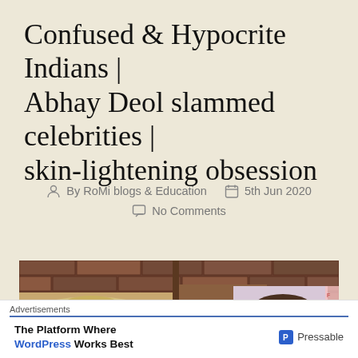Confused & Hypocrite Indians | Abhay Deol slammed celebrities | skin-lightening obsession
By RoMi blogs & Education   5th Jun 2020   No Comments
[Figure (photo): Photo collage of people against a brick wall background, showing a person wearing a hat on the left and a person's head on the right, with a text overlay 'RAW' in the center]
Advertisements   The Platform Where WordPress Works Best   Pressable